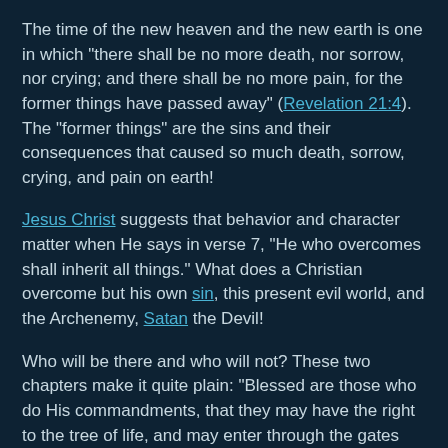The time of the new heaven and the new earth is one in which "there shall be no more death, nor sorrow, nor crying; and there shall be no more pain, for the former things have passed away" (Revelation 21:4). The "former things" are the sins and their consequences that caused so much death, sorrow, crying, and pain on earth!
Jesus Christ suggests that behavior and character matter when He says in verse 7, "He who overcomes shall inherit all things." What does a Christian overcome but his own sin, this present evil world, and the Archenemy, Satan the Devil!
Who will be there and who will not? These two chapters make it quite plain: "Blessed are those who do His commandments, that they may have the right to the tree of life, and may enter through the gates into the city [of New Jerusalem]. But outside are dogs and sorcerers and sexually immoral and murderers and idolaters, and whoever loves and practices a lie" (Revelation 22:14-15, cf. 21:8). It is extremely difficult, if not impossible, to deny that God says those who live upright lives will enter His Kingdom and those who live sinful lives will not. Righteous behavior and character certainly do matter to God!